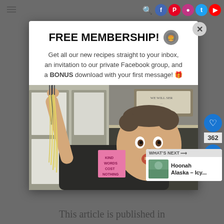≡  🔍 (Facebook) (Pinterest) (Instagram) (Twitter) (YouTube)
FREE MEMBERSHIP! 🍔
Get all our new recipes straight to your inbox, an invitation to our private Facebook group, and a BONUS download with your first message! 🎁
[Figure (photo): Woman holding up long noodles/spaghetti with a fork, looking surprised. Background shows a kitchen with a sticky note that reads KIND WORDS COST NOTHING and a framed sign.]
WHAT'S NEXT → Hoonah Alaska – Icy...
This article is published in